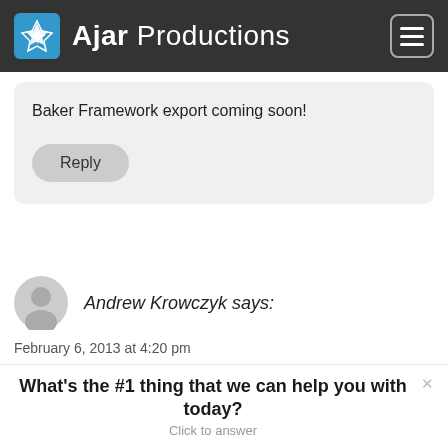Ajar Productions
Baker Framework export coming soon!
Reply
Andrew Krowczyk says:
February 6, 2013 at 4:20 pm
I also would love to see a Baker compatible
What's the #1 thing that we can help you with today? Click to answer